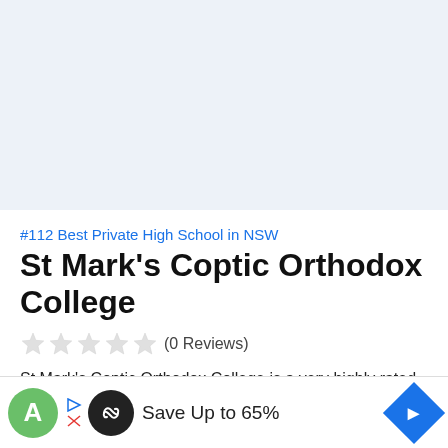[Figure (other): Light blue-grey banner area at top of page, appears to be an advertisement or image placeholder]
#112 Best Private High School in NSW
St Mark's Coptic Orthodox College
★★★★★ (0 Reviews)
St Mark's Coptic Orthodox College is a very highly rated combined school in Wattle Grove, Liverpool NSW. The private school has 743 studen...
[Figure (infographic): Advertisement bar at bottom showing 'Save Up to 65%' with Infinity Loop logo, play/close icons on left, and blue diamond arrow icon on right]